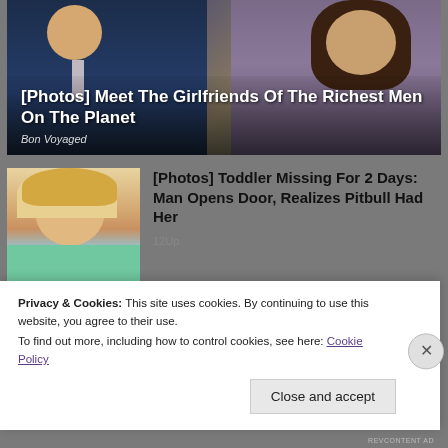[Figure (photo): Hero banner showing two people (man in suit and woman in dress) sitting together; overlay text promotes article about girlfriends of richest men]
[Photos] Meet The Girlfriends Of The Richest Men On The Planet
Bon Voyaged
[Figure (photo): Photo of a young blonde toddler girl in a teal shirt]
[Photos] Toddler Missing For 2 Days: Man Opens Door, Realizes Pitbull Had Her
12Up
[Figure (photo): Partial thumbnail image for Boomer article]
Silly Boomer Things That No
Privacy & Cookies: This site uses cookies. By continuing to use this website, you agree to their use.
To find out more, including how to control cookies, see here: Cookie Policy
Close and accept